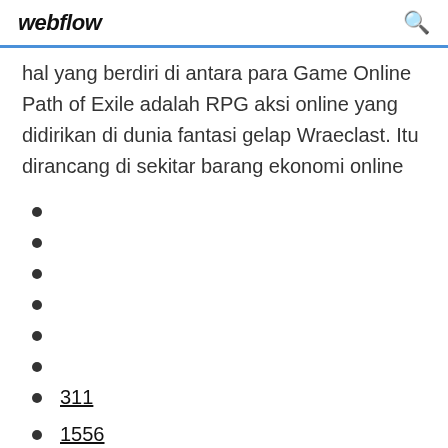webflow
hal yang berdiri di antara para Game Online
Path of Exile adalah RPG aksi online yang didirikan di dunia fantasi gelap Wraeclast. Itu dirancang di sekitar barang ekonomi online
311
1556
334